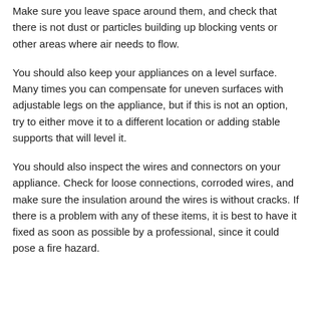Make sure you leave space around them, and check that there is not dust or particles building up blocking vents or other areas where air needs to flow.
You should also keep your appliances on a level surface. Many times you can compensate for uneven surfaces with adjustable legs on the appliance, but if this is not an option, try to either move it to a different location or adding stable supports that will level it.
You should also inspect the wires and connectors on your appliance. Check for loose connections, corroded wires, and make sure the insulation around the wires is without cracks. If there is a problem with any of these items, it is best to have it fixed as soon as possible by a professional, since it could pose a fire hazard.